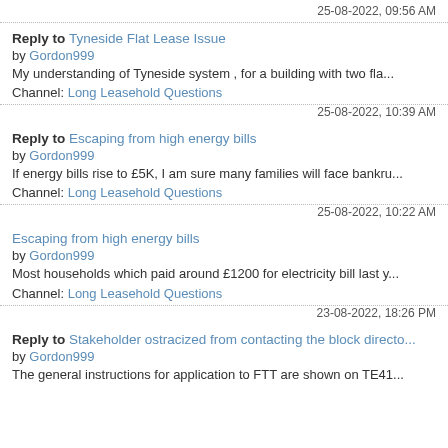25-08-2022, 09:56 AM
Reply to Tyneside Flat Lease Issue by Gordon999
My understanding of Tyneside system , for a building with two fla...
Channel: Long Leasehold Questions
25-08-2022, 10:39 AM
Reply to Escaping from high energy bills by Gordon999
If energy bills rise to £5K, I am sure many families will face bankru...
Channel: Long Leasehold Questions
25-08-2022, 10:22 AM
Escaping from high energy bills by Gordon999
Most households which paid around £1200 for electricity bill last y...
Channel: Long Leasehold Questions
23-08-2022, 18:26 PM
Reply to Stakeholder ostracized from contacting the block directo... by Gordon999
The general instructions for application to FTT are shown on TE41...